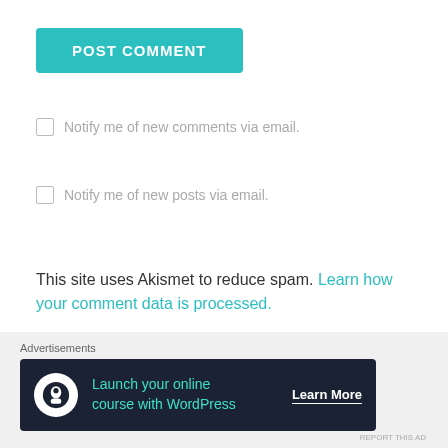POST COMMENT
Notify me of new comments via email.
Notify me of new posts via email.
This site uses Akismet to reduce spam. Learn how your comment data is processed.
Advertisements
[Figure (illustration): Orange advertisement banner with decorative floral and fruit illustrations]
Advertisements
[Figure (illustration): Dark advertisement banner: Launch your online course with WordPress - Learn More]